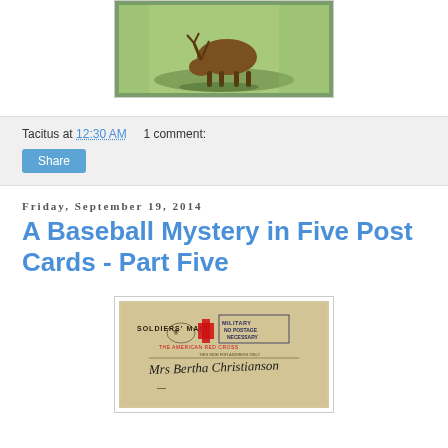[Figure (photo): Photo of a deer grazing on grass, viewed from behind, with trees in background]
Tacitus at 12:30 AM    1 comment:
Share
Friday, September 19, 2014
A Baseball Mystery in Five Post Cards - Part Five
[Figure (photo): Old postcard showing SOLDIERS' MAIL stamp, American Red Cross logo, NO POSTAGE NECESSARY military frank, and handwritten address to Mrs Bertha Christianson]